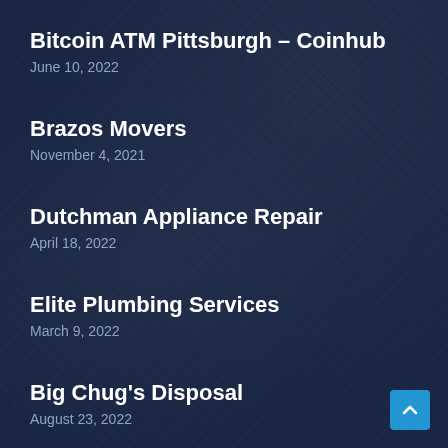Bitcoin ATM Pittsburgh – Coinhub
June 10, 2022
Brazos Movers
November 4, 2021
Dutchman Appliance Repair
April 18, 2022
Elite Plumbing Services
March 9, 2022
Big Chug's Disposal
August 23, 2022